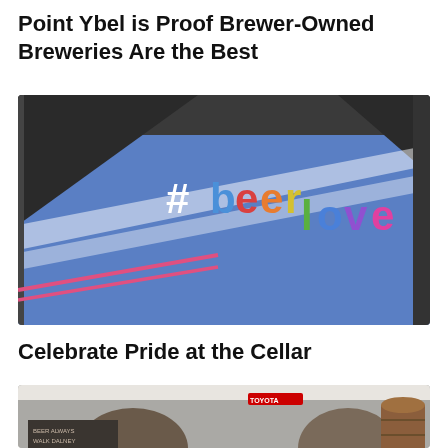Point Ybel is Proof Brewer-Owned Breweries Are the Best
[Figure (photo): Close-up of a blue surface with colorful rainbow lettering '#beerlove' and geometric shapes with white diagonal stripes]
Celebrate Pride at the Cellar
[Figure (photo): Two people in a workshop or brewery setting, partially visible, with a Toyota vehicle and barrels in the background]